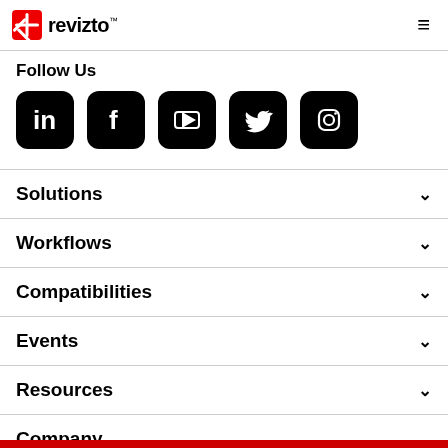revizto™
Follow Us
[Figure (other): Social media icons: LinkedIn, Facebook, YouTube, Twitter, Instagram — white icons on black rounded-square backgrounds]
Solutions
Workflows
Compatibilities
Events
Resources
Company